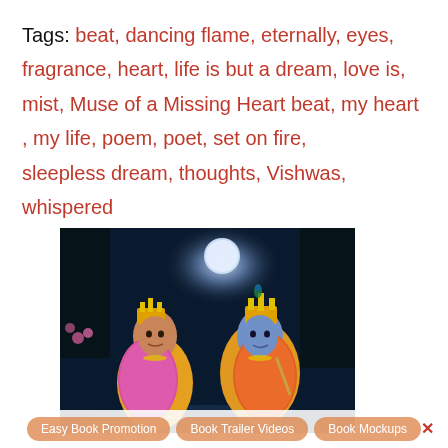Tags: beat, dancing flame, eternally, eyes, fragrance, heart, life is but a dream, love is, mist, Muse of a Missing Heart beat, my heart , my life, poem, poet, set on fire, sleepless dream, thoughts, Vishwas, whispered
[Figure (illustration): Painting of Radha and Krishna (Hindu deities) seated together at night under a full moon in a forest setting. Radha wears pink and yellow dress with gold jewelry and a crown. Krishna wears orange clothing with a golden crown and holds a flute.]
Easy Book Promotion   Book Trailer Videos   Book Mockups